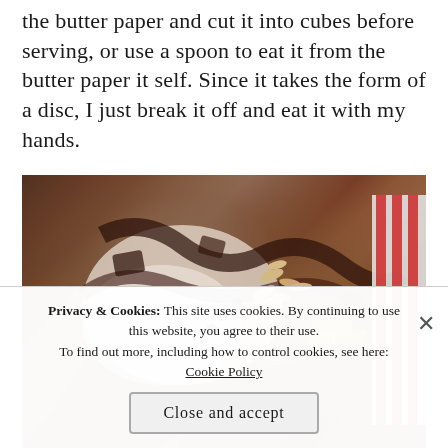the butter paper and cut it into cubes before serving, or use a spoon to eat it from the butter paper it self. Since it takes the form of a disc, I just break it off and eat it with my hands.
[Figure (photo): A photo of a chocolate disc/bark with nuts and dried fruit pieces on butter/wax paper, with a red and white striped fabric visible in the background.]
Privacy & Cookies: This site uses cookies. By continuing to use this website, you agree to their use. To find out more, including how to control cookies, see here: Cookie Policy